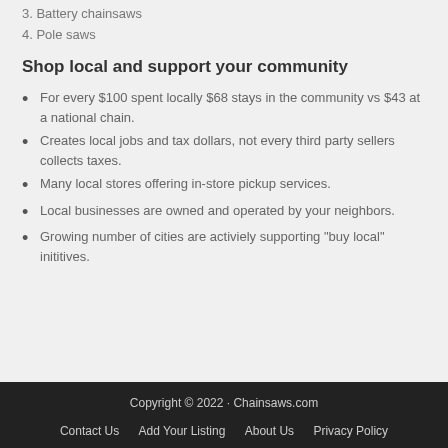3. Battery chainsaws
4. Pole saws
Shop local and support your community
For every $100 spent locally $68 stays in the community vs $43 at a national chain.
Creates local jobs and tax dollars, not every third party sellers collects taxes.
Many local stores offering in-store pickup services.
Local businesses are owned and operated by your neighbors.
Growing number of cities are activiely supporting "buy local" inititives.
Copyright © 2022 · Chainsaws.com
Contact Us   Add Your Listing   About Us   Privacy Policy